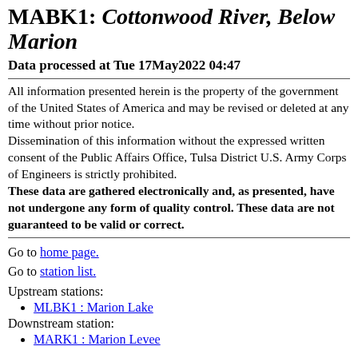MABK1: Cottonwood River, Below Marion
Data processed at Tue 17May2022 04:47
All information presented herein is the property of the government of the United States of America and may be revised or deleted at any time without prior notice.
Dissemination of this information without the expressed written consent of the Public Affairs Office, Tulsa District U.S. Army Corps of Engineers is strictly prohibited.
These data are gathered electronically and, as presented, have not undergone any form of quality control. These data are not guaranteed to be valid or correct.
Go to home page.
Go to station list.
Upstream stations:
MLBK1 : Marion Lake
Downstream station:
MARK1 : Marion Levee